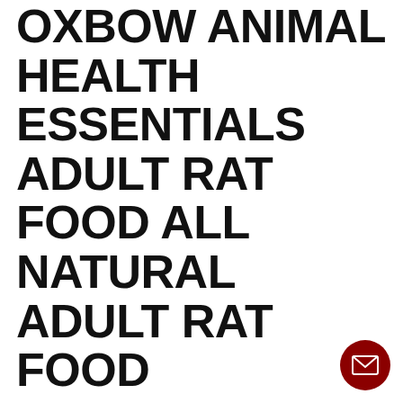OXBOW ANIMAL HEALTH ESSENTIALS ADULT RAT FOOD ALL NATURAL ADULT RAT FOOD
$14.29
Write a review
Earn 4% back on everything with Friends of Chuck
Subscribe & Save 35% on your first autoship order and save 5% on all remaining orders